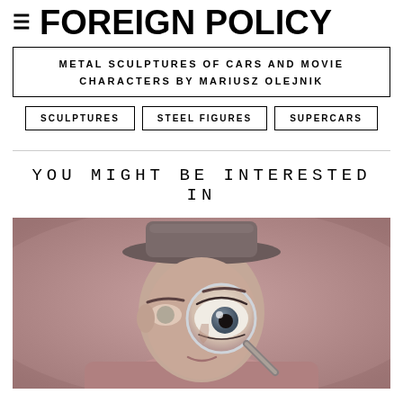≡ FOREIGN POLICY
METAL SCULPTURES OF CARS AND MOVIE CHARACTERS BY MARIUSZ OLEJNIK
SCULPTURES
STEEL FIGURES
SUPERCARS
YOU MIGHT BE INTERESTED IN
[Figure (photo): Portrait photo of a person wearing a hat, with a magnifying glass held up to one eye, creating a distorted enlarged eye effect. Pink/mauve toned background.]